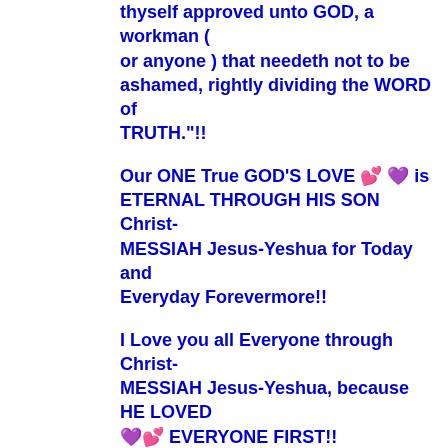thyself approved unto GOD, a workman ( or anyone ) that needeth not to be ashamed, rightly dividing the WORD of TRUTH."!!
Our ONE True GOD'S LOVE 💕 💜 is ETERNAL THROUGH HIS SON Christ-MESSIAH Jesus-Yeshua for Today and Everyday Forevermore!!
I Love you all Everyone through Christ-MESSIAH Jesus-Yeshua, because HE LOVED 💜💕 EVERYONE FIRST!!
Love 💕 Always and Shalom ( Peace ), YSIC \o/
Kristi Ann